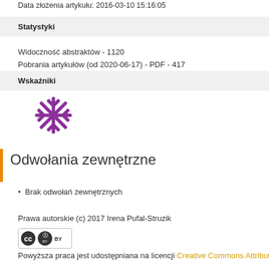Data złożenia artykułu: 2016-03-10 15:16:05
Statystyki
Widoczność abstraktów - 1120
Pobrania artykułów (od 2020-06-17) - PDF - 417
Wskaźniki
[Figure (illustration): Purple asterisk/snowflake icon representing metrics indicator]
Odwołania zewnętrzne
Brak odwołań zewnętrznych
Prawa autorskie (c) 2017 Irena Pufal-Struzik
[Figure (logo): Creative Commons CC BY license badge]
Powyższa praca jest udostępniana na licencji Creative Commons Attribution 4.0 In